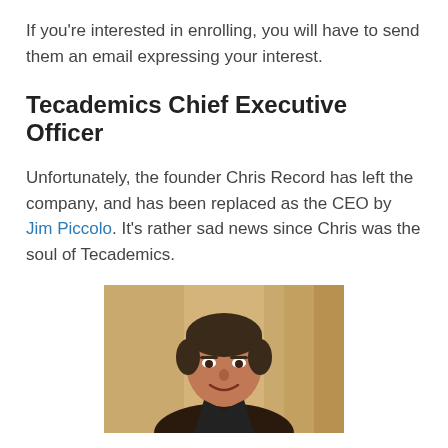If you're interested in enrolling, you will have to send them an email expressing your interest.
Tecademics Chief Executive Officer
Unfortunately, the founder Chris Record has left the company, and has been replaced as the CEO by Jim Piccolo. It's rather sad news since Chris was the soul of Tecademics.
[Figure (photo): Headshot of Jim Piccolo, a middle-aged man with dark hair, smiling, against a warm golden background.]